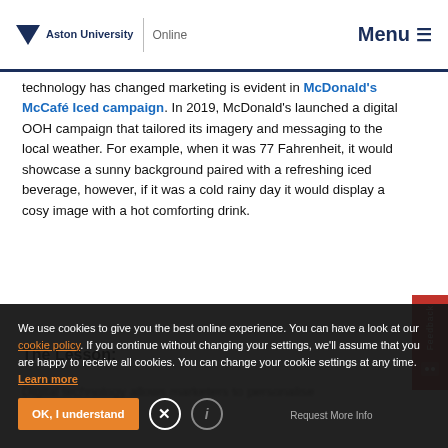Aston University Online | Menu
technology has changed marketing is evident in McDonald's McCafé Iced campaign. In 2019, McDonald's launched a digital OOH campaign that tailored its imagery and messaging to the local weather. For example, when it was 77 Fahrenheit, it would showcase a sunny background paired with a refreshing iced beverage, however, if it was a cold rainy day it would display a cosy image with a hot comforting drink.
The Lesson:
Digital technology allows marketers to personalise order, audience including geographical location, past purchases, online behaviour, and more. McDonald's
We use cookies to give you the best online experience. You can have a look at our cookie policy. If you continue without changing your settings, we'll assume that you are happy to receive all cookies. You can change your cookie settings at any time. Learn more